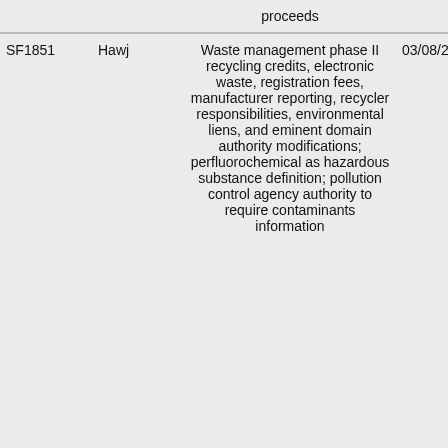|  |  | proceeds |  |
| --- | --- | --- | --- |
| SF1851 | Hawj | Waste management phase II recycling credits, electronic waste, registration fees, manufacturer reporting, recycler responsibilities, environmental liens, and eminent domain authority modifications; perfluorochemical as hazardous substance definition; pollution control agency authority to require contaminants information | 03/08/2021 |